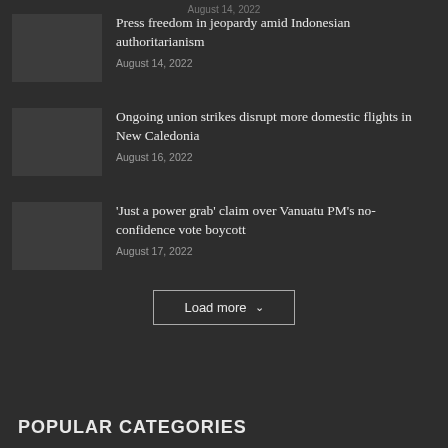August 14, 2022 (truncated at top)
Press freedom in jeopardy amid Indonesian authoritarianism
August 14, 2022
Ongoing union strikes disrupt more domestic flights in New Caledonia
August 16, 2022
‘Just a power grab’ claim over Vanuatu PM’s no-confidence vote boycott
August 17, 2022
Load more
POPULAR CATEGORIES